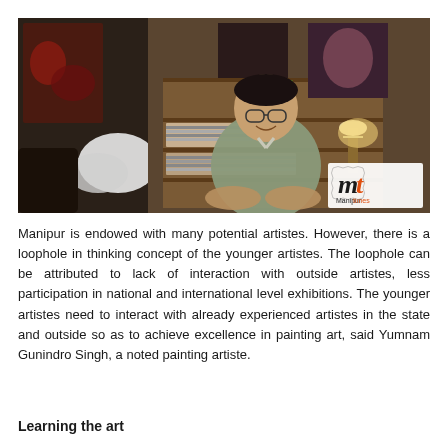[Figure (photo): A man (Yumnam Gunindro Singh) sitting and smiling in an artist's studio, surrounded by paintings on the walls and shelves stacked with books and art supplies. A Manipur Times logo is visible in the bottom-right corner of the image.]
Manipur is endowed with many potential artistes. However, there is a loophole in thinking concept of the younger artistes. The loophole can be attributed to lack of interaction with outside artistes, less participation in national and international level exhibitions. The younger artistes need to interact with already experienced artistes in the state and outside so as to achieve excellence in painting art, said Yumnam Gunindro Singh, a noted painting artiste.
Learning the art